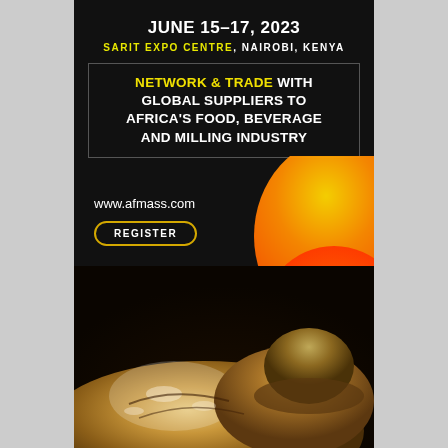JUNE 15-17, 2023
SARIT EXPO CENTRE, NAIROBI, KENYA
NETWORK & TRADE WITH GLOBAL SUPPLIERS TO AFRICA'S FOOD, BEVERAGE AND MILLING INDUSTRY
www.afmass.com
REGISTER
[Figure (photo): Photo of artisan bread loaves with flour dusting, displayed in a rustic style]